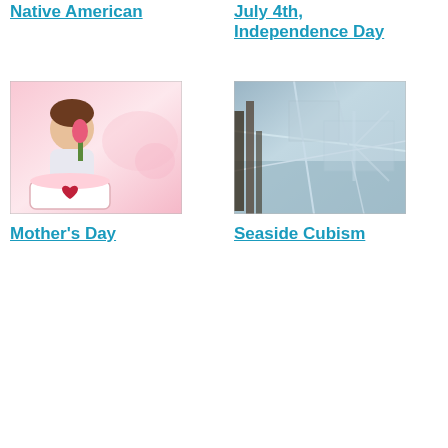Native American
July 4th, Independence Day
[Figure (photo): Child smelling a pink tulip in front of a pink heart-decorated cake, on a pink background]
Mother's Day
[Figure (photo): Abstract seaside cubism photo with blue-grey tones, geometric shapes, and a waterfront scene]
Seaside Cubism